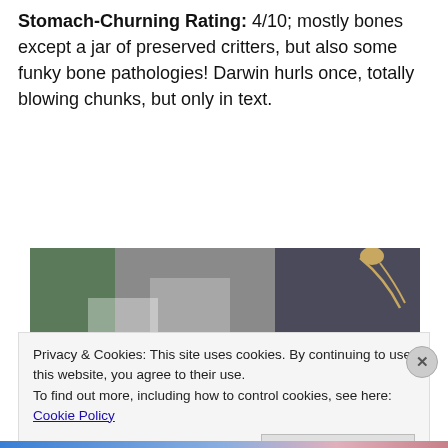Stomach-Churning Rating: 4/10; mostly bones except a jar of preserved critters, but also some funky bone pathologies! Darwin hurls once, totally blowing chunks, but only in text.
[Figure (photo): A museum display case showing animal skeletons arranged on a dark wooden surface, with glass panels in the foreground and additional skeleton visible in the upper right.]
Privacy & Cookies: This site uses cookies. By continuing to use this website, you agree to their use.
To find out more, including how to control cookies, see here: Cookie Policy